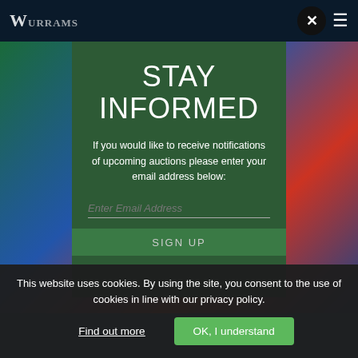W [logo]
STAY INFORMED
If you would like to receive notifications of upcoming auctions please enter your email address below:
Enter Email Address
SIGN UP
This website uses cookies. By using the site, you consent to the use of cookies in line with our privacy policy.
Find out more
OK, I understand